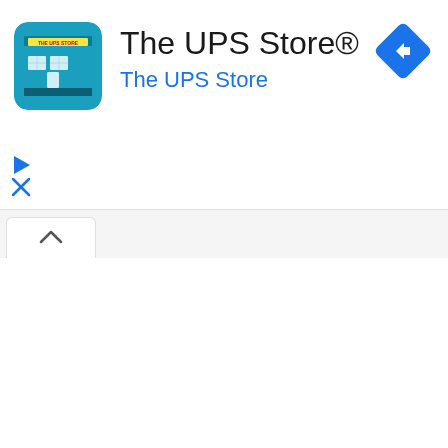[Figure (logo): The UPS Store app icon — teal/blue square with UPS Store storefront illustration]
The UPS Store®
The UPS Store
[Figure (other): Blue diamond navigation/directions icon with right-turn arrow]
[Figure (other): Play button icon (triangle) in blue]
[Figure (other): Close/X icon in blue]
[Figure (screenshot): Tab bar with an active white tab showing an up-chevron arrow]